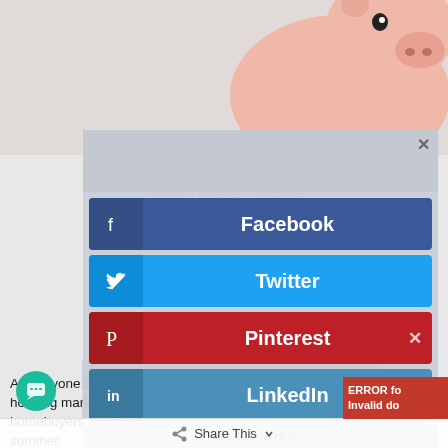[Figure (photo): Partial view of a pink piggy bank on a light grey background, cropped at top of page]
[Figure (screenshot): Social media share modal overlay with Facebook, Twitter, Pinterest, LinkedIn buttons, partially overlaid on newsletter subscription text and a 'Share This' toolbar]
Ask anyone who?s been paying close attention to the Canadian housing market throughout the pandemic and you?ll hear that homebuyers are making up for lost time and then some this summer.
[Figure (screenshot): ERROR badge: 'ERROR fo Invalid do' in red, chat icon in teal, Share This floating bar, Twitter and Pinterest share buttons behind the bar]